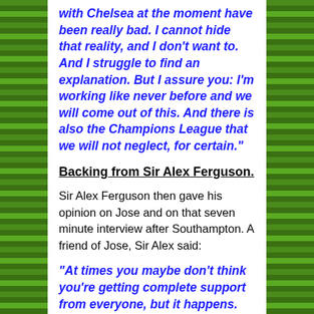with Chelsea at the moment have been really bad. I cannot hide that reality, and I don't want to. And I struggle to find an explanation. But I assure you: I'm working like never before and we will come out of this. And there is also the Champions League that we will not neglect, for certain."
Backing from Sir Alex Ferguson.
Sir Alex Ferguson then gave his opinion on Jose and on that seven minute interview after Southampton. A friend of Jose, Sir Alex said:
"At times you maybe don't think you're getting complete support from everyone, but it happens. It's not always correct, and I don't think it's correct what Jose's thinking at the moment. I think he's got the support."